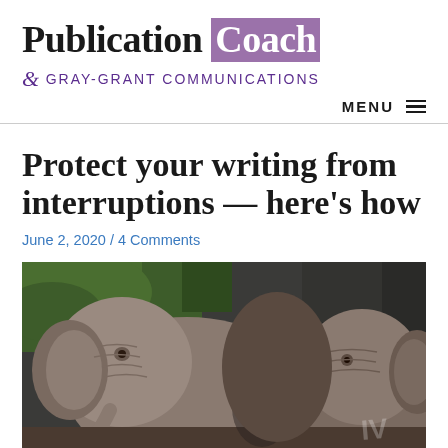Publication Coach & Gray-Grant Communications
MENU
Protect your writing from interruptions — here's how
June 2, 2020 / 4 Comments
[Figure (photo): Two elephants photographed from the side/rear, standing close together, with green foliage in the background. A watermark is visible in the lower right corner.]